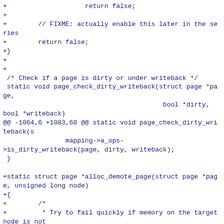+                    return false;
+
+        // FIXME: actually enable this later in the series
+        return false;
+}
+
+
 /* Check if a page is dirty or under writeback */
 static void page_check_dirty_writeback(struct page *page,
                                         bool *dirty,
bool *writeback)
@@ -1064,6 +1083,60 @@ static void page_check_dirty_writeback(s
                mapping->a_ops-
>is_dirty_writeback(page, dirty, writeback);
 }

+static struct page *alloc_demote_page(struct page *page, unsigned long node)
+{
+        /*
+         * Try to fail quickly if memory on the target node is not
+         * available.  Leaving out __GFP_IO and __GFP_FS helps with
+         * this.  If the desintation node is full, we want kswapd to
+         * run there so that its pages will get